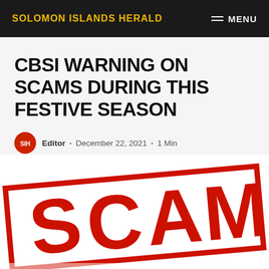SOLOMON ISLANDS HERALD | MENU
CBSI WARNING ON SCAMS DURING THIS FESTIVE SEASON
Editor · December 22, 2021 · 1 Min
[Figure (illustration): Large red distressed stamp-style text reading SCAM on white background with red border, rotated slightly]